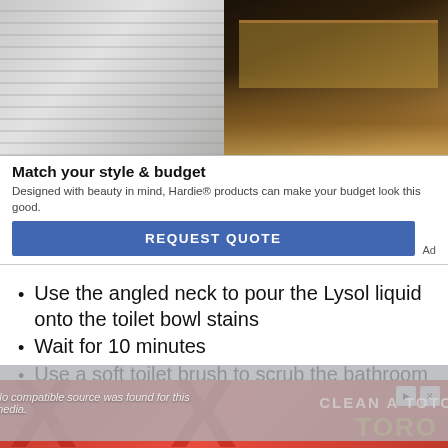[Figure (photo): Advertisement banner showing white horizontal siding on the left and a warmly lit modern house at night on the right]
Match your style & budget
Designed with beauty in mind, Hardie® products can make your budget look this good.
[Figure (other): Blue REQUEST QUOTE button with Ad label]
Use the angled neck to pour the Lysol liquid onto the toilet bowl stains
Wait for 10 minutes
Use a soft toilet brush to scrub the bathroom
Press the flush efficiently to remove the loosened stains
[Figure (other): Video player overlay with 'No compatible source was found for this media' message and CLEAN A TOTO text]
[Figure (other): Bottom red advertisement banner with X marks and TORO text]